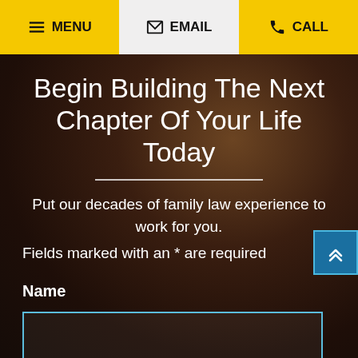MENU  EMAIL  CALL
Begin Building The Next Chapter Of Your Life Today
Put our decades of family law experience to work for you.
Fields marked with an * are required
Name